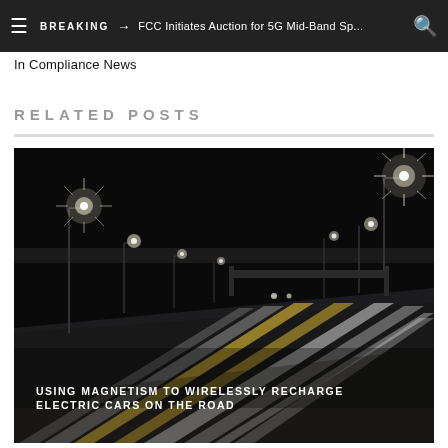BREAKING → FCC Initiates Auction for 5G Mid-Band Sp...
In Compliance News
RELATED POSTS
[Figure (photo): Night-time long-exposure photo of a multi-lane highway with light trails from vehicles, street lamps creating star-burst effects, overpass visible in the background. Monochrome with yellow/golden highlights.]
USING MAGNETISM TO WIRELESSLY RECHARGE ELECTRIC CARS ON THE ROAD